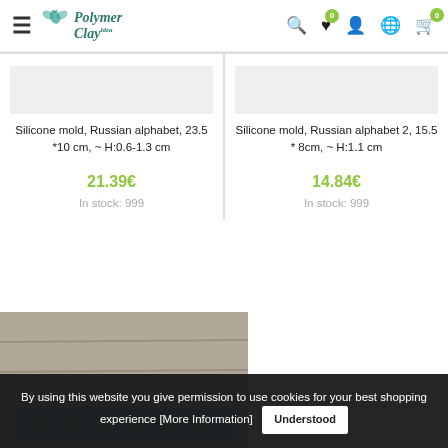Polymer Clay — navigation header with logo, hamburger menu, search, wishlist (0), account, language, cart (0)
Silicone mold, Russian alphabet, 23.5 *10 cm, ~ H:0.6-1.3 cm
21.39€
In stock: 999
Silicone mold, Russian alphabet 2, 15.5 * 8cm, ~ H:1.1 cm
14.84€
In stock: 999
[Figure (photo): Photo of a blue silicone alphabet mold on a wooden surface, partially visible]
By using this website you give permission to use cookies for your best shopping experience [More Information]   Understood